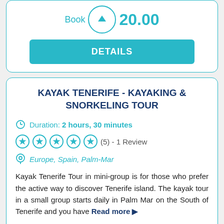Book  20.00
DETAILS
KAYAK TENERIFE - KAYAKING & SNORKELING TOUR
Duration: 2 hours, 30 minutes
(5) - 1 Review
Europe, Spain, Palm-Mar
Kayak Tenerife Tour in mini-group is for those who prefer the active way to discover Tenerife island. The kayak tour in a small group starts daily in Palm Mar on the South of Tenerife and you have Read more ▶
PRICES & BOOKING
from €15